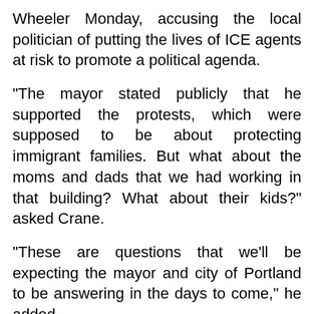Wheeler Monday, accusing the local politician of putting the lives of ICE agents at risk to promote a political agenda.
“The mayor stated publicly that he supported the protests, which were supposed to be about protecting immigrant families. But what about the moms and dads that we had working in that building? What about their kids?” asked Crane.
“These are questions that we’ll be expecting the mayor and city of Portland to be answering in the days to come,” he added.
“For now, a handful of ICE officers and staff are taking this mayor and city on all by ourselves,” Crane said. “We’ll fight alone for the rule of law and safety of our employees nationwide if that’s what it takes, but someone on our side would be a welcome change